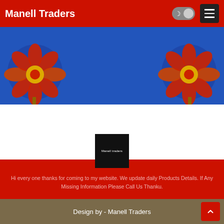Manell Traders
[Figure (illustration): Blue decorative banner with ornamental floral/mandala designs on left and right sides on a blue background]
[Figure (logo): Black square logo with white text reading 'Manell traders']
Hi every one thanks for coming to my website. We update daily Products Details. If Any Missing Information Please Call Us Thanku.
[Figure (infographic): Row of social media icons: Facebook, Twitter, YouTube, Instagram, RSS]
Design by - Manell Traders